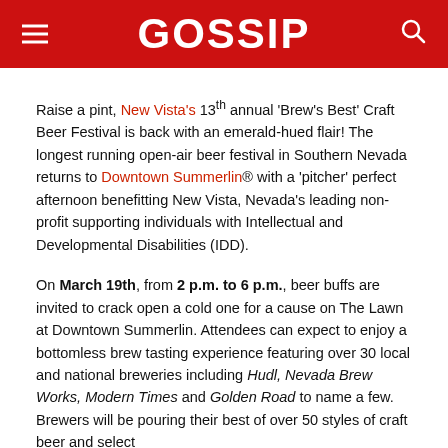GOSSIP
Raise a pint, New Vista's 13th annual 'Brew's Best' Craft Beer Festival is back with an emerald-hued flair! The longest running open-air beer festival in Southern Nevada returns to Downtown Summerlin® with a 'pitcher' perfect afternoon benefitting New Vista, Nevada's leading non-profit supporting individuals with Intellectual and Developmental Disabilities (IDD).
On March 19th, from 2 p.m. to 6 p.m., beer buffs are invited to crack open a cold one for a cause on The Lawn at Downtown Summerlin. Attendees can expect to enjoy a bottomless brew tasting experience featuring over 30 local and national breweries including Hudl, Nevada Brew Works, Modern Times and Golden Road to name a few. Brewers will be pouring their best of over 50 styles of craft beer and select